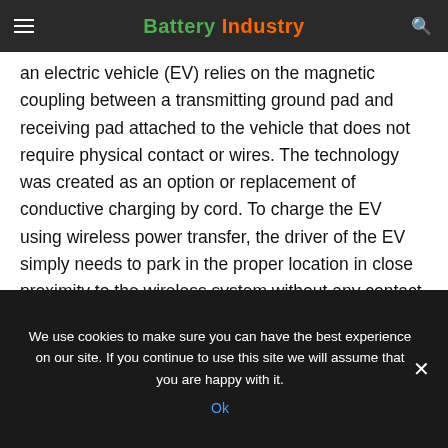Battery Industry
an electric vehicle (EV) relies on the magnetic coupling between a transmitting ground pad and receiving pad attached to the vehicle that does not require physical contact or wires. The technology was created as an option or replacement of conductive charging by cord. To charge the EV using wireless power transfer, the driver of the EV simply needs to park in the proper location in close proximity to the wireless system without any contact to equipment.
UL 2750covers wireless power transfer equipment for transferring power to an EV, including:
We use cookies to make sure you can have the best experience on our site. If you continue to use this site we will assume that you are happy with it.